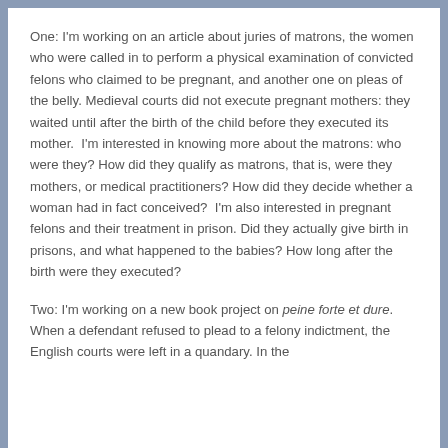One: I'm working on an article about juries of matrons, the women who were called in to perform a physical examination of convicted felons who claimed to be pregnant, and another one on pleas of the belly. Medieval courts did not execute pregnant mothers: they waited until after the birth of the child before they executed its mother.  I'm interested in knowing more about the matrons: who were they? How did they qualify as matrons, that is, were they mothers, or medical practitioners? How did they decide whether a woman had in fact conceived?  I'm also interested in pregnant felons and their treatment in prison. Did they actually give birth in prisons, and what happened to the babies? How long after the birth were they executed?
Two: I'm working on a new book project on peine forte et dure.  When a defendant refused to plead to a felony indictment, the English courts were left in a quandary. In the